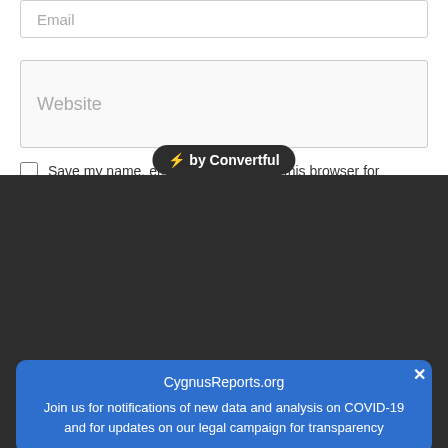Email
Website
⚡ by Convertful
Save my name, email, and website in this browser for
CygnusReports.org
Join us for notifications of new data and analysis on COVID-19 and for updates on our legal campaign for transparency
Your Name
Your Email
I accept the Terms and the Privacy Policy.
Subscribe